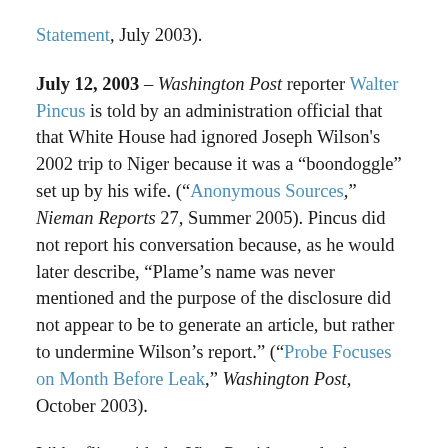Statement, July 2003).
July 12, 2003 – Washington Post reporter Walter Pincus is told by an administration official that that White House had ignored Joseph Wilson's 2002 trip to Niger because it was a "boondoggle" set up by his wife. ("Anonymous Sources," Nieman Reports 27, Summer 2005). Pincus did not report his conversation because, as he would later describe, "Plame's name was never mentioned and the purpose of the disclosure did not appear to be to generate an article, but rather to undermine Wilson's report." ("Probe Focuses on Month Before Leak," Washington Post, October 2003).
Libby flies with the Vice President and others to Norfolk, Virginia and back. The Vice President allegedly advises Libby that Wilson's wife works for the CIA, information Libby understands the Vice President received from the CIA. Libby does not...